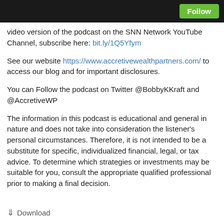Follow
video version of the podcast on the SNN Network YouTube Channel, subscribe here: bit.ly/1Q5Yfym
See our website https://www.accretivewealthpartners.com/ to access our blog and for important disclosures.
You can Follow the podcast on Twitter @BobbyKKraft and @AccretiveWP
The information in this podcast is educational and general in nature and does not take into consideration the listener's personal circumstances. Therefore, it is not intended to be a substitute for specific, individualized financial, legal, or tax advice. To determine which strategies or investments may be suitable for you, consult the appropriate qualified professional prior to making a final decision.
Download